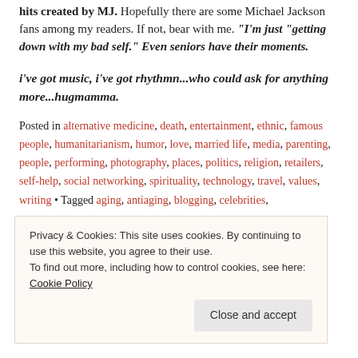hits created by MJ. Hopefully there are some Michael Jackson fans among my readers. If not, bear with me. I'm just "getting down with my bad self." Even seniors have their moments.
i've got music, i've got rhythmn...who could ask for anything more...hugmamma.
Posted in alternative medicine, death, entertainment, ethnic, famous people, humanitarianism, humor, love, married life, media, parenting, people, performing, photography, places, politics, religion, retailers, self-help, social networking, spirituality, technology, travel, values, writing • Tagged aging, antiaging, blogging, celebrities,
Privacy & Cookies: This site uses cookies. By continuing to use this website, you agree to their use.
To find out more, including how to control cookies, see here: Cookie Policy